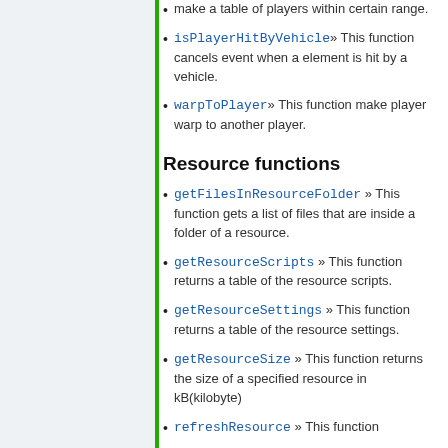make a table of players within certain range.
isPlayerHitByVehicle » This function cancels event when a element is hit by a vehicle.
warpToPlayer » This function make player warp to another player.
Resource functions
getFilesInResourceFolder » This function gets a list of files that are inside a folder of a resource.
getResourceScripts » This function returns a table of the resource scripts.
getResourceSettings » This function returns a table of the resource settings.
getResourceSize » This function returns the size of a specified resource in kB(kilobyte)
refreshResource » This function